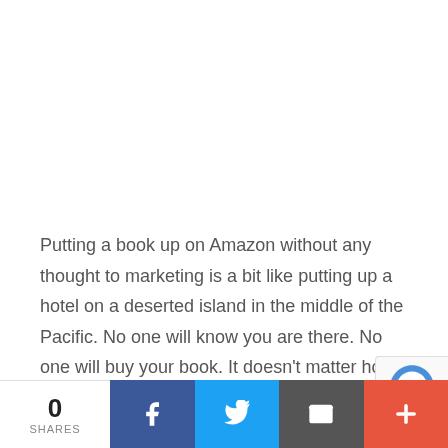Putting a book up on Amazon without any thought to marketing is a bit like putting up a hotel on a deserted island in the middle of the Pacific. No one will know you are there. No one will buy your book. It doesn't matter how beautifully written or captivating your story might be, no one will read it.
In order to sell beyond your friends and family
0 SHARES | Facebook | Twitter | Email | More